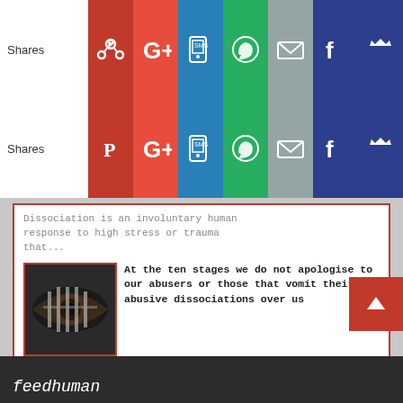[Figure (screenshot): Social share bar row 1 with Pinterest, Google+, SMS, WhatsApp, Email, Facebook, Crown icons. Label: Shares]
[Figure (screenshot): Social share bar row 2 with Pinterest, Google+, SMS, WhatsApp, Email, Facebook, Crown icons. Label: Shares]
Dissociation is an involuntary human response to high stress or trauma that...
[Figure (photo): Thumbnail image of an eye with prison bars reflected in it]
At the ten stages we do not apologise to our abusers or those that vomit their abusive dissociations over us
At the ten stages we do not apologise to our abusers or those that vomit...
THE TEN STAGES
[Figure (screenshot): Search input bar (empty, orange-bordered)]
feedhuman